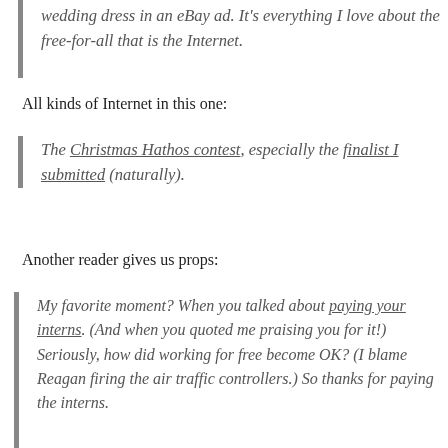wedding dress in an eBay ad. It's everything I love about the free-for-all that is the Internet.
All kinds of Internet in this one:
The Christmas Hathos contest, especially the finalist I submitted (naturally).
Another reader gives us props:
My favorite moment? When you talked about paying your interns. (And when you quoted me praising you for it!) Seriously, how did working for free become OK? (I blame Reagan firing the air traffic controllers.) So thanks for paying the interns.